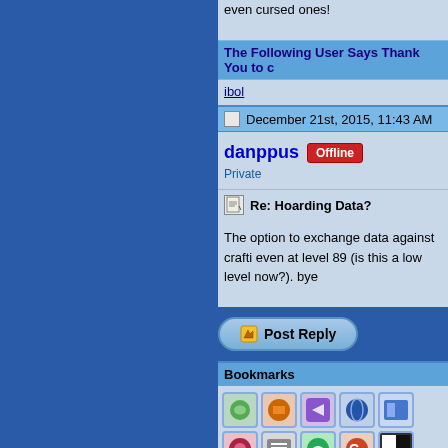even cursed ones!
The Following User Says Thank You to c
ibol
December 21st, 2015, 11:43 AM
danppus  Offline  Private
Re: Hoarding Data?
The option to exchange data against crafti even at level 89 (is this a low level now?). bye
Post Reply
Bookmarks
[Figure (screenshot): Row of bookmark/social sharing icons]